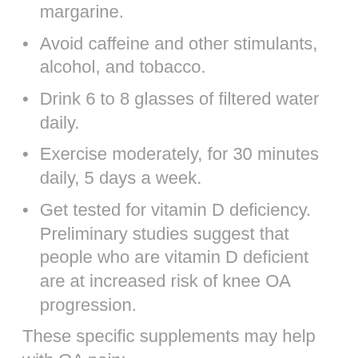margarine.
Avoid caffeine and other stimulants, alcohol, and tobacco.
Drink 6 to 8 glasses of filtered water daily.
Exercise moderately, for 30 minutes daily, 5 days a week.
Get tested for vitamin D deficiency. Preliminary studies suggest that people who are vitamin D deficient are at increased risk of knee OA progression.
These specific supplements may help with OA pain:
Glucosamine/chondroitin, for joint health. Results from several well-designed scientific studies suggest that glucosamine supplements may work for OA, particularly OA of the knee